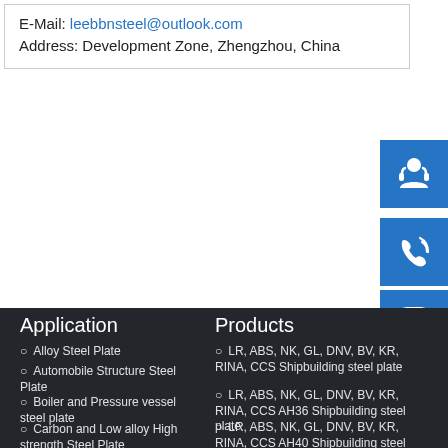E-Mail: leebbnsteel@outlook.com
Address: Development Zone, Zhengzhou, China
[Figure (illustration): Blue square icon with headset/support agent silhouette]
[Figure (illustration): Blue square icon with phone/call silhouette]
[Figure (illustration): Blue square icon with Skype logo]
Application
Alloy Steel Plate
Automobile Structure Steel Plate
Boiler and Pressure vessel steel plate
Carbon and Low alloy High strength Steel Plate
Clad Steel Plate
Products
LR, ABS, NK, GL, DNV, BV, KR, RINA, CCS Shipbuilding steel plate (partially obscured)
LR, ABS, NK, GL, DNV, BV, KR, RINA, CCS AH36 Shipbuilding steel plate
LR, ABS, NK, GL, DNV, BV, KR, RINA, CCS AH40 Shipbuilding steel plate